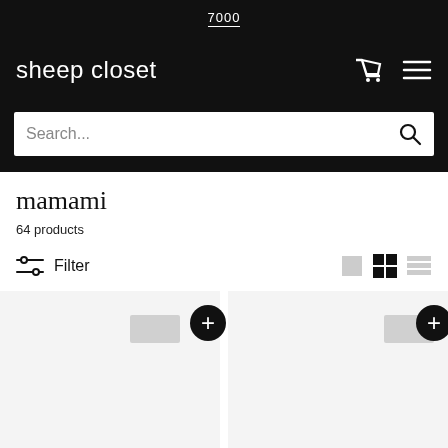7000
sheep closet
Search...
mamami
64 products
Filter
[Figure (screenshot): Two product cards with add (+) buttons and color swatch placeholders on a light gray background]